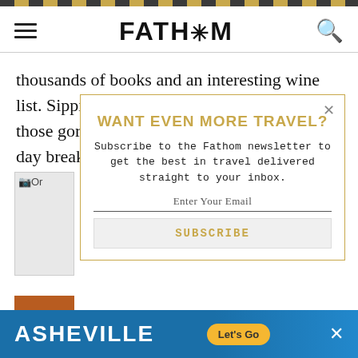FATH*M (navigation header with hamburger menu and search icon)
thousands of books and an interesting wine list. Sipping champagne surrounded by all those gorgeous first editions is a blissful mid-day break.
[Figure (screenshot): Modal popup: WANT EVEN MORE TRAVEL? Subscribe to the Fathom newsletter to get the best in travel delivered straight to your inbox. Enter Your Email field and SUBSCRIBE button.]
[Figure (photo): Partially visible image placeholder on left side behind modal]
[Figure (photo): Partially visible orange/travel photo at bottom left]
[Figure (infographic): Ad banner: ASHEVILLE with Let's Go button on blue background]